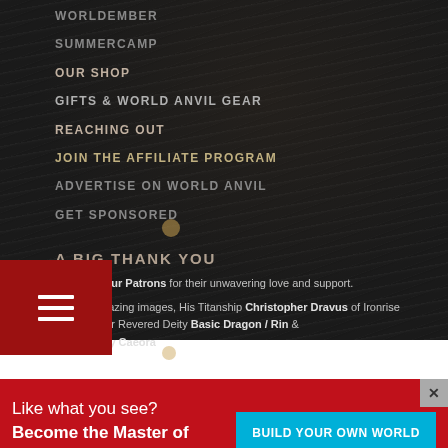WORLDEMBER
SUMMERCAMP
OUR SHOP
GIFTS & WORLD ANVIL GEAR
REACHING OUT
JOIN THE AFFILIATE PROGRAM
ADVERTISE ON WORLD ANVIL
GET SPONSORED
A BIG THANK YOU
To all our Our Patrons for their unwavering love and support.
For the amazing images, His Titanship Christopher Dravus of Ironrise Games, Our Revered Deity Basic Dragon / Rin & His Majesty Caeora
Like what you see? Become the Master of your own Universe! →
BUILD YOUR OWN WORLD